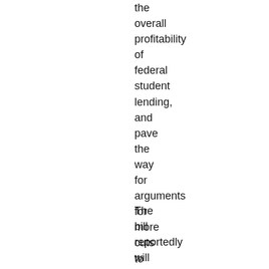the overall profitability of federal student lending, and pave the way for arguments for more cuts to federal lending in the future.
The bill reportedly will also reduce regulation of for-profit